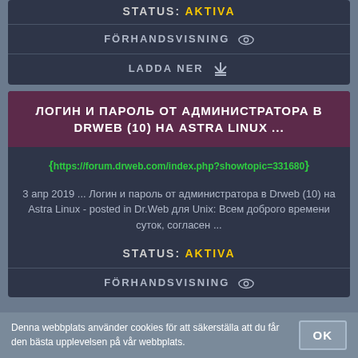STATUS: AKTIVA
FÖRHANDSVISNING
LADDA NER
ЛОГИН И ПАРОЛЬ ОТ АДМИНИСТРАТОРА В DRWEB (10) НА ASTRA LINUX ...
https://forum.drweb.com/index.php?showtopic=331680
3 апр 2019 ... Логин и пароль от администратора в Drweb (10) на Astra Linux - posted in Dr.Web для Unix: Всем доброго времени суток, согласен ...
STATUS: AKTIVA
FÖRHANDSVISNING
Denna webbplats använder cookies för att säkerställa att du får den bästa upplevelsen på vår webbplats.